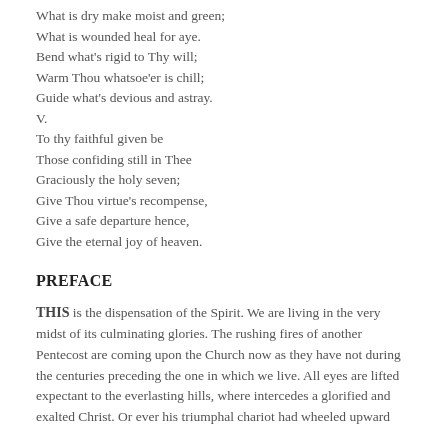What is dry make moist and green;
What is wounded heal for aye.
Bend what's rigid to Thy will;
Warm Thou whatsoe'er is chill;
Guide what's devious and astray.
V.
To thy faithful given be
Those confiding still in Thee
Graciously the holy seven;
Give Thou virtue's recompense,
Give a safe departure hence,
Give the eternal joy of heaven.
PREFACE
THIS is the dispensation of the Spirit. We are living in the very midst of its culminating glories. The rushing fires of another Pentecost are coming upon the Church now as they have not during the centuries preceding the one in which we live. All eyes are lifted expectant to the everlasting hills, where intercedes a glorified and exalted Christ. Or ever his triumphal chariot had wheeled upward